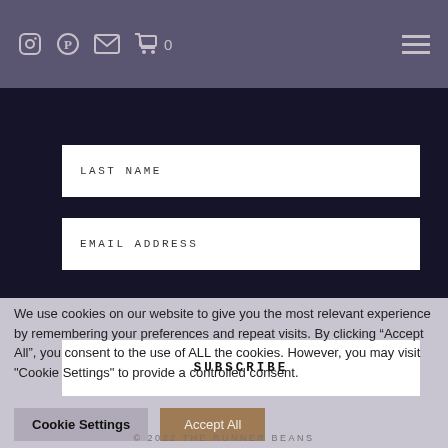Navigation bar with social icons (Instagram, Pinterest, Email, Cart 0) and hamburger menu
LAST NAME
EMAIL ADDRESS
SUBSCRIBE
We use cookies on our website to give you the most relevant experience by remembering your preferences and repeat visits. By clicking “Accept All”, you consent to the use of ALL the cookies. However, you may visit "Cookie Settings" to provide a controlled consent.
Cookie Settings
Accept All
© 2022 THE RUNNER BEANS